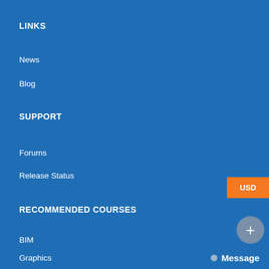LINKS
News
Blog
SUPPORT
Forums
Release Status
RECOMMENDED COURSES
BIM
Graphics
USD
+
Message